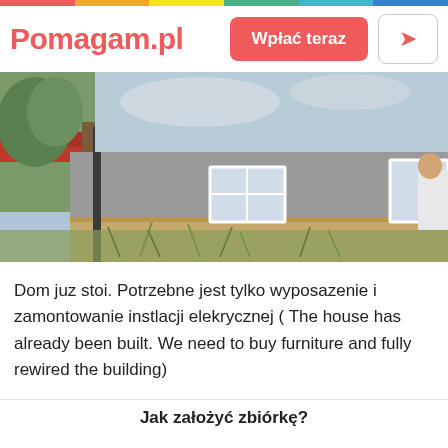Pomagam.pl — Wpłać teraz [share button]
[Figure (photo): Exterior photo of an unfinished concrete house with vegetation in the foreground, a red-tiled roof visible to the left, a window in the center and right side of the building, and a person in white clothing partially visible on the right edge.]
Dom juz stoi. Potrzebne jest tylko wyposazenie i zamontowanie instlacji elekrycznej ( The house has already been built. We need to buy furniture and fully rewired the building)
Jak założyć zbiórkę?